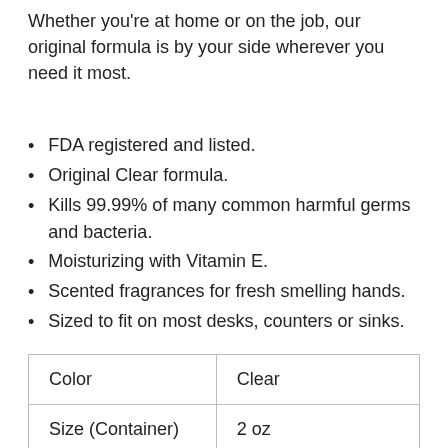Whether you're at home or on the job, our original formula is by your side wherever you need it most.
FDA registered and listed.
Original Clear formula.
Kills 99.99% of many common harmful germs and bacteria.
Moisturizing with Vitamin E.
Scented fragrances for fresh smelling hands.
Sized to fit on most desks, counters or sinks.
| Color | Clear |
| Size (Container) | 2 oz |
| Number Of | 1 |